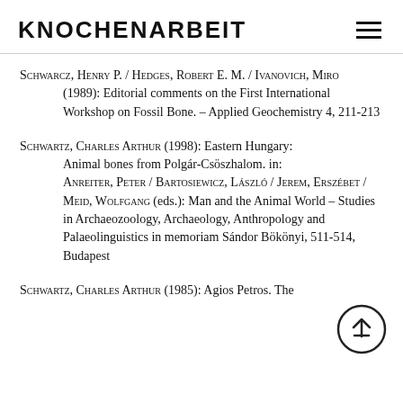KNOCHENARBEIT
Schwarcz, Henry P. / Hedges, Robert E. M. / Ivanovich, Miro (1989): Editorial comments on the First International Workshop on Fossil Bone. – Applied Geochemistry 4, 211-213
Schwartz, Charles Arthur (1998): Eastern Hungary: Animal bones from Polgár-Csöszhalom. in: Anreiter, Peter / Bartosiewicz, László / Jerem, Erszébet / Meid, Wolfgang (eds.): Man and the Animal World – Studies in Archaeozoology, Archaeology, Anthropology and Palaeolinguistics in memoriam Sándor Bökönyi, 511-514, Budapest
Schwartz, Charles Arthur (1985): Agios Petros. The Vertebrates and Molluscs From a Final Bronze Age...